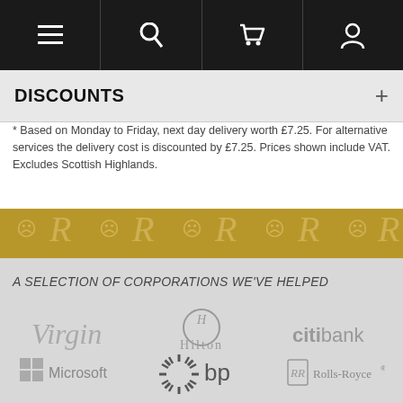[Figure (screenshot): Mobile website navigation bar with hamburger menu, search, cart, and user icons on black background]
DISCOUNTS
* Based on Monday to Friday, next day delivery worth £7.25. For alternative services the delivery cost is discounted by £7.25. Prices shown include VAT. Excludes Scottish Highlands.
[Figure (illustration): Gold decorative banner with repeating Royal Warrant crest and stylized R letterform pattern]
A SELECTION OF CORPORATIONS WE'VE HELPED
[Figure (logo): Virgin logo in cursive script, Hilton logo with H emblem, Citibank logo, Microsoft Windows logo, BP sunburst logo, Rolls-Royce logo]